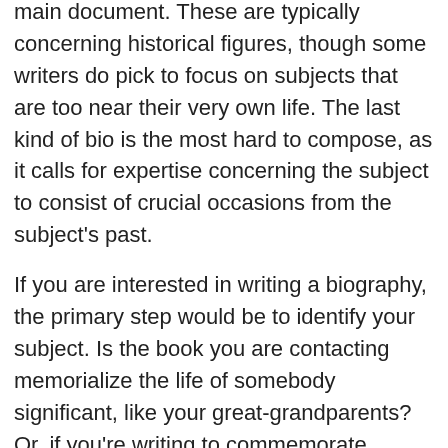main document. These are typically concerning historical figures, though some writers do pick to focus on subjects that are too near their very own life. The last kind of bio is the most hard to compose, as it calls for expertise concerning the subject to consist of crucial occasions from the subject's past.
If you are interested in writing a biography, the primary step would be to identify your subject. Is the book you are contacting memorialize the life of somebody significant, like your great-grandparents? Or, if you're writing to commemorate something less substantial in life, such as graduation day, a wedding, or your first day at the workplace, just how do you come close to the topic? The first step in creating an autobiography is to determine what you desire your visitors to learn about your subject. As soon as you have actually chosen what you wish to